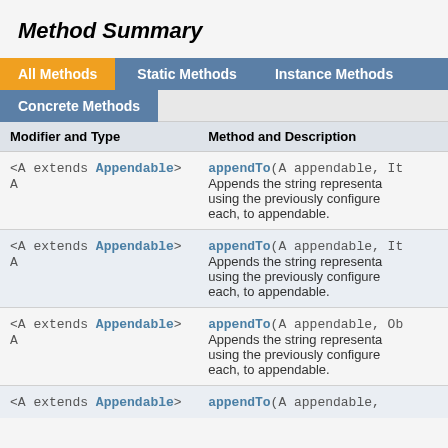Method Summary
| Modifier and Type | Method and Description |
| --- | --- |
| <A extends Appendable> A | appendTo(A appendable, It...
Appends the string representa... using the previously configure... each, to appendable. |
| <A extends Appendable> A | appendTo(A appendable, It...
Appends the string representa... using the previously configure... each, to appendable. |
| <A extends Appendable> A | appendTo(A appendable, Ob...
Appends the string representa... using the previously configure... each, to appendable. |